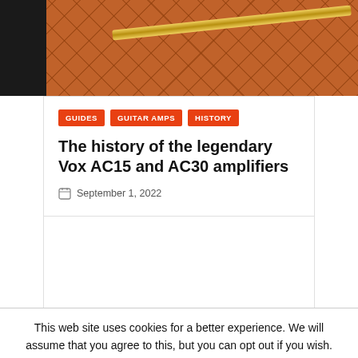[Figure (photo): Close-up photo of a Vox amplifier showing brown/orange diamond-pattern speaker cloth with a gold metallic bar/trim across it, against a dark background]
GUIDES
GUITAR AMPS
HISTORY
The history of the legendary Vox AC15 and AC30 amplifiers
September 1, 2022
This web site uses cookies for a better experience. We will assume that you agree to this, but you can opt out if you wish.
Cookie settings
I accept